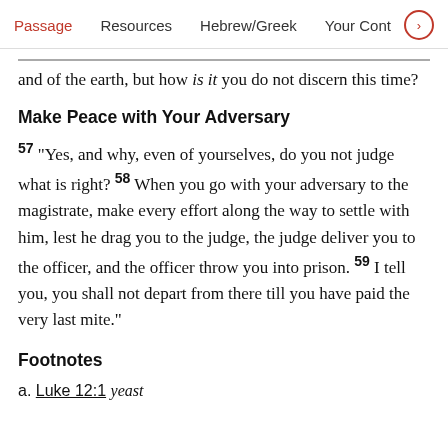Passage   Resources   Hebrew/Greek   Your Cont
and of the earth, but how is it you do not discern this time?
Make Peace with Your Adversary
57 “Yes, and why, even of yourselves, do you not judge what is right? 58 When you go with your adversary to the magistrate, make every effort along the way to settle with him, lest he drag you to the judge, the judge deliver you to the officer, and the officer throw you into prison. 59 I tell you, you shall not depart from there till you have paid the very last mite.”
Footnotes
a. Luke 12:1 yeast